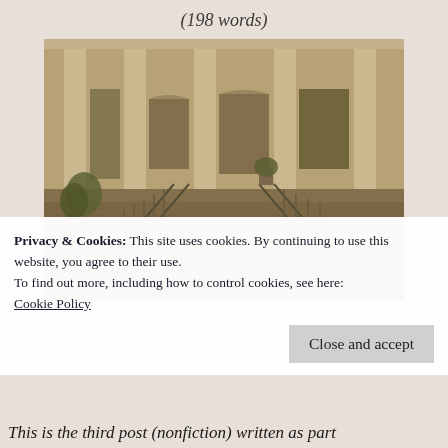(198 words)
[Figure (photo): Black and white photograph of a large building with wide stone steps leading up to the entrance, iron railings on each side, columns, and plants near the base.]
Privacy & Cookies: This site uses cookies. By continuing to use this website, you agree to their use.
To find out more, including how to control cookies, see here:
Cookie Policy
Close and accept
This is the third post (nonfiction) written as part